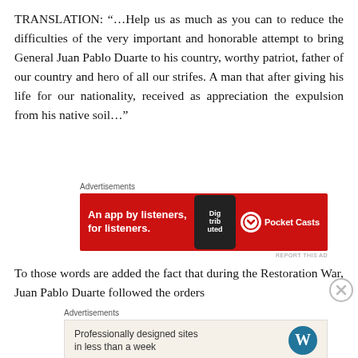TRANSLATION: “…Help us as much as you can to reduce the difficulties of the very important and honorable attempt to bring General Juan Pablo Duarte to his country, worthy patriot, father of our country and hero of all our strifes. A man that after giving his life for our nationality, received as appreciation the expulsion from his native soil…”
[Figure (other): Advertisement banner: Pocket Casts app ad on red background reading 'An app by listeners, for listeners.' with phone graphic and Pocket Casts logo]
To those words are added the fact that during the Restoration War, Juan Pablo Duarte followed the orders
[Figure (other): Advertisement banner: WordPress ad on beige background reading 'Professionally designed sites in less than a week' with WordPress logo]